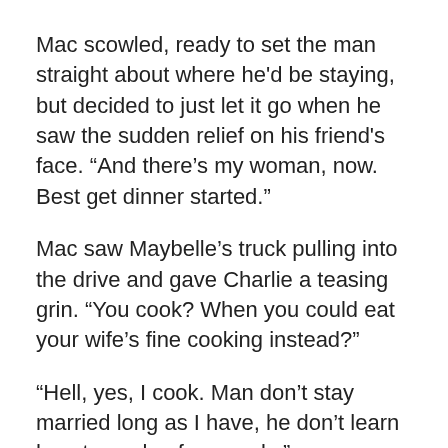Mac scowled, ready to set the man straight about where he'd be staying, but decided to just let it go when he saw the sudden relief on his friend's face. “And there’s my woman, now. Best get dinner started.”
Mac saw Maybelle’s truck pulling into the drive and gave Charlie a teasing grin. “You cook? When you could eat your wife’s fine cooking instead?”
“Hell, yes, I cook. Man don’t stay married long as I have, he don’t learn how to cook a few meals.”
“You’re one lucky bastard, Charlie, to have found a woman willing to put up with your ugly mug and your cooking.”
The old man let out a cackle of laughter. “Damn, son, you know that woman was the one what found me. Get on with